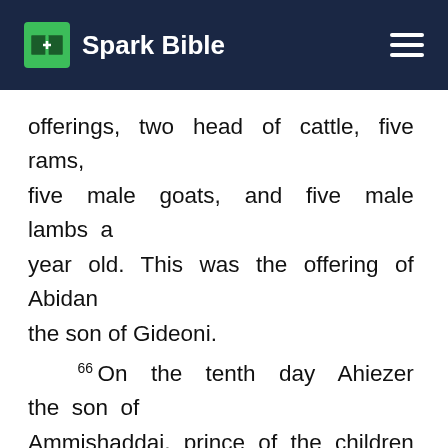Spark Bible
offerings, two head of cattle, five rams, five male goats, and five male lambs a year old. This was the offering of Abidan the son of Gideoni.
66 On the tenth day Ahiezer the son of Ammishaddai, prince of the children of Dan, 67 gave his offering:
one silver platter, the weight of which was one hundred thirty shekels,
one silver bowl of seventy shekels,